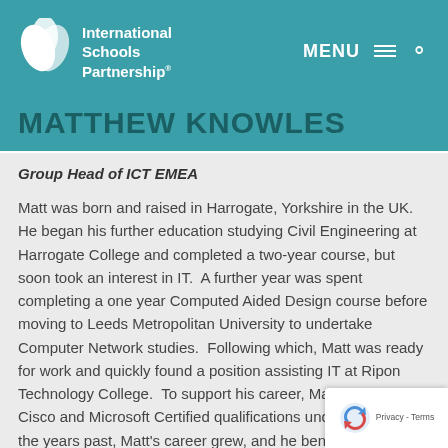International Schools Partnership
MATTHEW KNOWLES
Group Head of ICT EMEA
Matt was born and raised in Harrogate, Yorkshire in the UK. He began his further education studying Civil Engineering at Harrogate College and completed a two-year course, but soon took an interest in IT.  A further year was spent completing a one year Computed Aided Design course before moving to Leeds Metropolitan University to undertake Computer Network studies.  Following which, Matt was ready for work and quickly found a position assisting IT at Ripon Technology College.  To support his career, Matt added both Cisco and Microsoft Certified qualifications under his belt.  As the years past, Matt's career grew, and he benefited from gaining experience in a wide